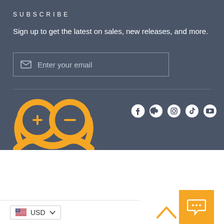SUBSCRIBE
Sign up to get the latest on sales, new releases, and more.
Enter your email
[Figure (logo): Orange robot/mascot logo with two figures, one with plus and one with minus symbol]
[Figure (infographic): Social media icons: Facebook, Pinterest, Instagram, TikTok, YouTube]
Join our mailing list and receive a lot of Mysterious gifts when you buy an e-bike.
Enter your email
USD